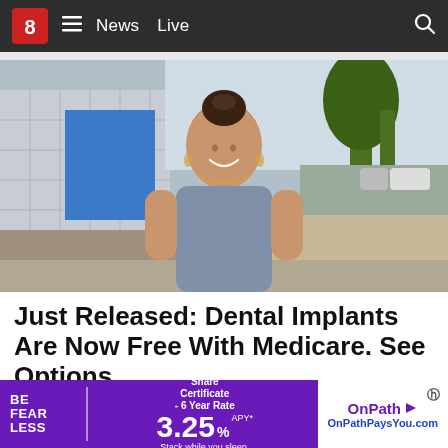8 News Live
[Figure (photo): A woman with dark hair in a bun, wearing a grey short-sleeve dress, standing outdoors on a sidewalk with trees and a building in the background.]
Just Released: Dental Implants Are Now Free With Medicare. See Options
Dental Impl...
[Figure (infographic): OnPath advertisement banner: BE FEARLESS | Share Certificate - 6 Year Rate | 3.25% APY | Stack while you sleep. OnPath | OnPathPaysYou.com]